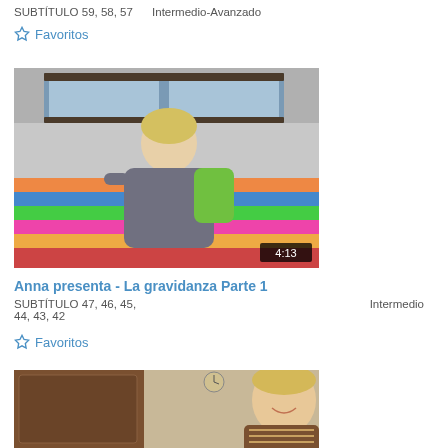SUBTÍTULO 59, 58, 57    Intermedio-Avanzado
☆ Favoritos
[Figure (photo): Video thumbnail showing a woman sitting on a colorful striped couch holding a green stuffed animal/puppet. Duration badge shows 4:13.]
Anna presenta - La gravidanza Parte 1
SUBTÍTULO 47, 46, 45, 44, 43, 42    Intermedio
☆ Favoritos
[Figure (photo): Video thumbnail showing a smiling woman with short blonde hair wearing a brown striped top.]